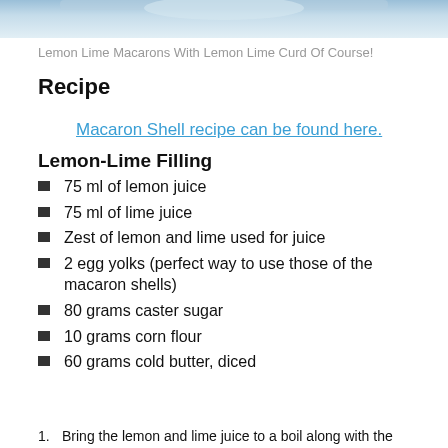[Figure (photo): Top portion of a photo showing lemon lime macarons, partially cropped at top of page]
Lemon Lime Macarons With Lemon Lime Curd Of Course!
Recipe
Macaron Shell recipe can be found here.
Lemon-Lime Filling
75 ml of lemon juice
75 ml of lime juice
Zest of lemon and lime used for juice
2 egg yolks (perfect way to use those of the macaron shells)
80 grams caster sugar
10 grams corn flour
60 grams cold butter, diced
1. Bring the lemon and lime juice to a boil along with the